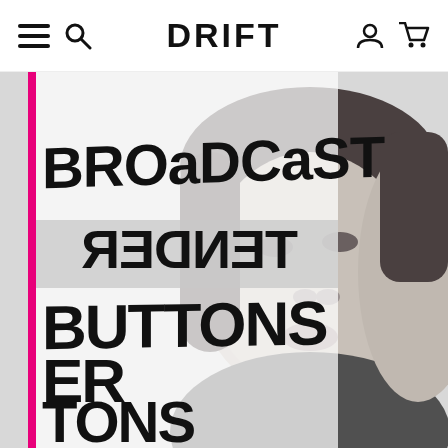DRIFT
[Figure (illustration): Screenshot of a music/record store website called DRIFT showing an album product page. Navigation bar at top with hamburger menu, search icon, DRIFT logo in bold, account and cart icons. Below is a large image of the Broadcast 'Tender Buttons' album cover showing bold hand-drawn black lettering reading 'BROADCAST TENDER BUTTONS' with a mirrored/reversed 'TENDER' line, overlaid on a black and white close-up photo of a young child's face looking upward. A bright pink vertical bar runs along the left side. The album cover text is partially repeated/reflected showing 'ER TONS' at the bottom.]